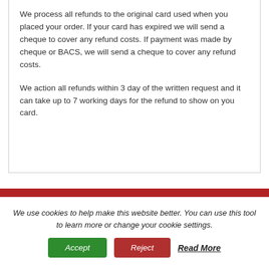We process all refunds to the original card used when you placed your order. If your card has expired we will send a cheque to cover any refund costs. If payment was made by cheque or BACS, we will send a cheque to cover any refund costs.
We action all refunds within 3 day of the written request and it can take up to 7 working days for the refund to show on you card.
We use cookies to help make this website better. You can use this tool to learn more or change your cookie settings.